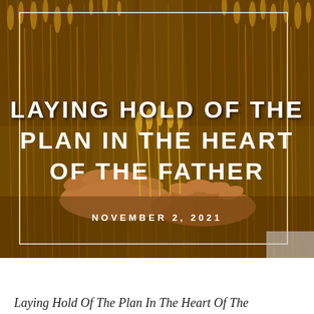[Figure (photo): Photograph of two hands gently cradling golden wheat stalks in a wheat field, with warm amber tones. Overlaid with white uppercase text reading 'LAYING HOLD OF THE PLAN IN THE HEART OF THE FATHER' and below it 'NOVEMBER 2, 2021', framed by a thin white rectangle border.]
Laying Hold Of The Plan In The Heart Of The